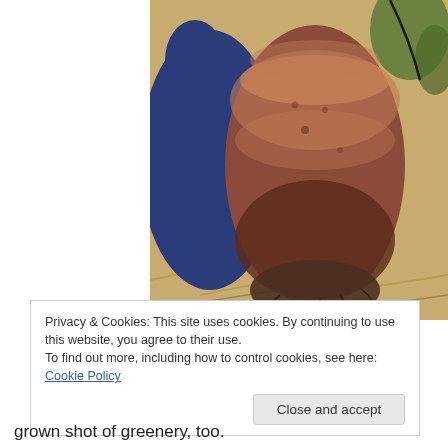[Figure (photo): A hand wearing a dark blue glove holding a large reddish-brown root vegetable (possibly a yam or sweet potato) with dirt and roots clinging to the bottom, photographed outdoors against a background of straw and greenery.]
Privacy & Cookies: This site uses cookies. By continuing to use this website, you agree to their use.
To find out more, including how to control cookies, see here: Cookie Policy
Close and accept
grown shot of greenery, too.